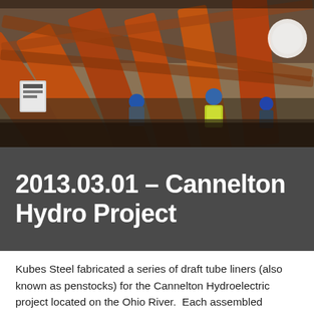[Figure (photo): Construction site photograph showing large steel structural components, including orange/rust-colored metal beams and workers in hard hats and safety vests on the ground below.]
2013.03.01 – Cannelton Hydro Project
Kubes Steel fabricated a series of draft tube liners (also known as penstocks) for the Cannelton Hydroelectric project located on the Ohio River.  Each assembled section is 30 feet in diameter and 60 feet long.  When completed, water from the Ohio River will be directed through the penstocks to the turbines, which will turn generators and produce approximately 88 Megawatts of electricity.  The...